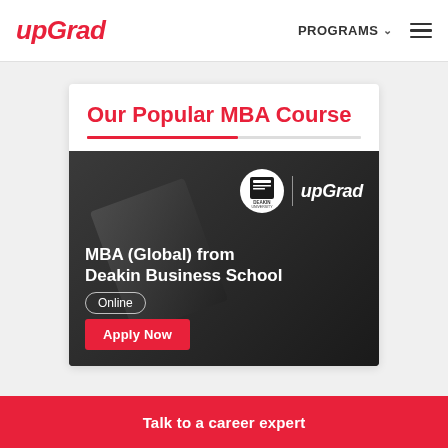upGrad — PROGRAMS (navigation)
Our Popular MBA Course
[Figure (screenshot): Course card on dark background showing Deakin University and upGrad logos, text 'MBA (Global) from Deakin Business School', 'Online' badge, and 'Apply Now' button]
Talk to a career expert